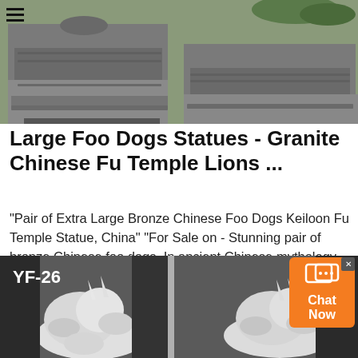[Figure (photo): Photo of large granite foo dog/temple lion statue pedestals outdoors, shown from above]
Large Foo Dogs Statues - Granite Chinese Fu Temple Lions ...
"Pair of Extra Large Bronze Chinese Foo Dogs Keiloon Fu Temple Statue, China" "For Sale on - Stunning pair of bronze Chinese foo dogs. In ancient Chinese mythology they are seen to ward off evil spirits, much"
[Figure (photo): Photo of white foo dog statues with label YF-26, displayed in what appears to be a showroom or outdoor setting]